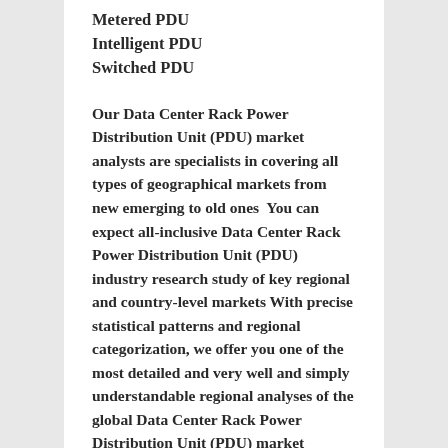Metered PDU
Intelligent PDU
Switched PDU
Our Data Center Rack Power Distribution Unit (PDU) market analysts are specialists in covering all types of geographical markets from new emerging to old ones  You can expect all-inclusive Data Center Rack Power Distribution Unit (PDU) industry research study of key regional and country-level markets  With precise statistical patterns and regional categorization, we offer you one of the most detailed and very well and simply understandable regional analyses of the global Data Center Rack Power Distribution Unit (PDU) market